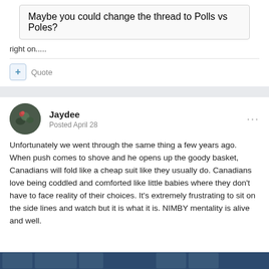Maybe you could change the thread to Polls vs Poles?
right on.....
Quote
Jaydee — Posted April 28
Unfortunately we went through the same thing a few years ago. When push comes to shove and he opens up the goody basket, Canadians will fold like a cheap suit like they usually do. Canadians love being coddled and comforted like little babies where they don't have to face reality of their choices. It's extremely frustrating to sit on the side lines and watch but it is what it is. NIMBY mentality is alive and well.